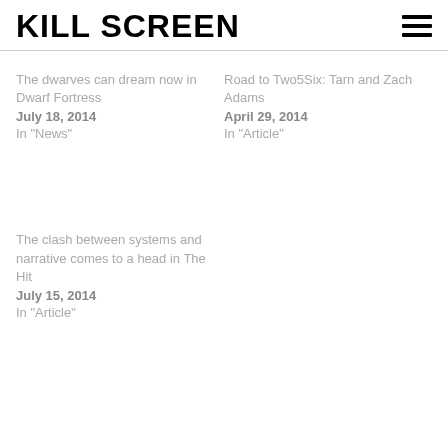KILL SCREEN
The dwarves can dream now in Dwarf Fortress
July 18, 2014
In "News"
Road to Two5Six: Tarn and Zach Adams
April 29, 2014
In "Article"
The clash between systems and narrative comes to a head in The Hit
July 15, 2014
In "Article"